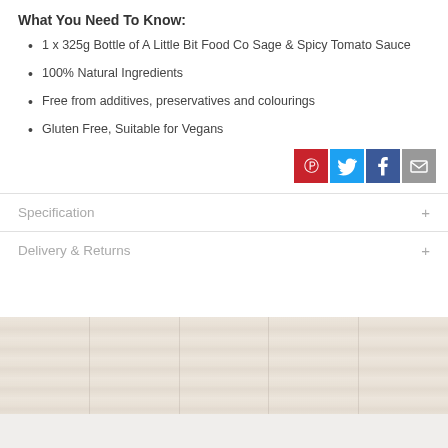What You Need To Know:
1 x 325g Bottle of A Little Bit Food Co Sage & Spicy Tomato Sauce
100% Natural Ingredients
Free from additives, preservatives and colourings
Gluten Free, Suitable for Vegans
[Figure (infographic): Social sharing icons: Pinterest (red), Twitter (blue), Facebook (dark blue), Email (grey)]
Specification +
Delivery & Returns +
[Figure (photo): Wood panel background strip with light-colored wooden planks]